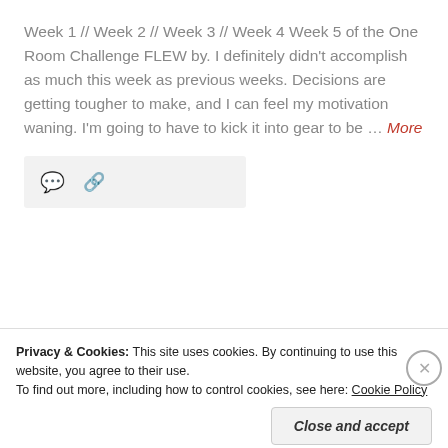Week 1 // Week 2 // Week 3 // Week 4 Week 5 of the One Room Challenge FLEW by. I definitely didn't accomplish as much this week as previous weeks. Decisions are getting tougher to make, and I can feel my motivation waning. I'm going to have to kick it into gear to be ... More
[Figure (screenshot): Post meta bar with comment icon and link icon on light grey background]
[Figure (screenshot): Red navigation bar partially visible with 'Older posts' text]
Privacy & Cookies: This site uses cookies. By continuing to use this website, you agree to their use.
To find out more, including how to control cookies, see here: Cookie Policy
Close and accept